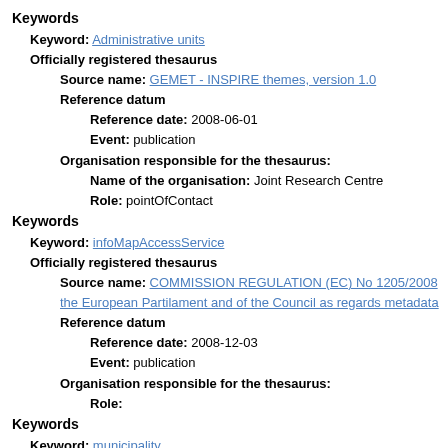Keywords
Keyword: Administrative units
Officially registered thesaurus
Source name: GEMET - INSPIRE themes, version 1.0
Reference datum
Reference date: 2008-06-01
Event: publication
Organisation responsible for the thesaurus:
Name of the organisation: Joint Research Centre
Role: pointOfContact
Keywords
Keyword: infoMapAccessService
Officially registered thesaurus
Source name: COMMISSION REGULATION (EC) No 1205/2008... the European Partilament and of the Council as regards metadata
Reference datum
Reference date: 2008-12-03
Event: publication
Organisation responsible for the thesaurus:
Role:
Keywords
Keyword: municipality
Keyword: unit of territorial administration
Keyword: raster map
Keyword: geonym, geographical name